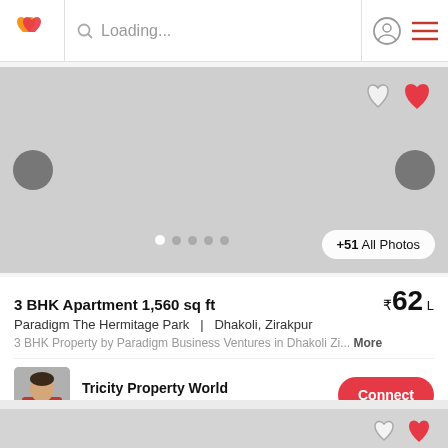Loading...
[Figure (photo): Property image placeholder with navigation arrows and heart icons. Shows +51 All Photos button and dot indicators.]
3 BHK Apartment 1,560 sq ft ₹62 L
Paradigm The Hermitage Park  |  Dhakoli, Zirakpur
3 BHK Property by Paradigm Business Ventures in Dhakoli Zi... More
Tricity Property World
AGENT
[Figure (photo): Agent profile photo of a person in a red jacket]